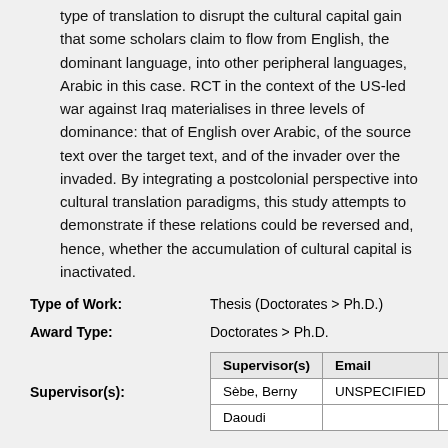type of translation to disrupt the cultural capital gain that some scholars claim to flow from English, the dominant language, into other peripheral languages, Arabic in this case. RCT in the context of the US-led war against Iraq materialises in three levels of dominance: that of English over Arabic, of the source text over the target text, and of the invader over the invaded. By integrating a postcolonial perspective into cultural translation paradigms, this study attempts to demonstrate if these relations could be reversed and, hence, whether the accumulation of cultural capital is inactivated.
| Type of Work: | Thesis (Doctorates > Ph.D.) |
| Award Type: | Doctorates > Ph.D. |
| Supervisor(s) | Email | ORCID |
| --- | --- | --- |
| Sèbe, Berny | UNSPECIFIED | UNSPECIFIED |
| Daoudi |  |  |